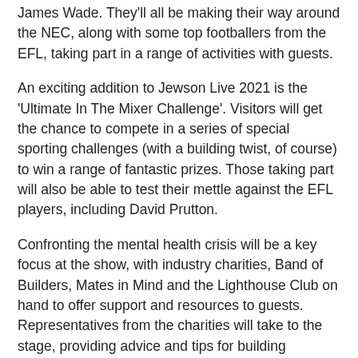James Wade. They'll all be making their way around the NEC, along with some top footballers from the EFL, taking part in a range of activities with guests.
An exciting addition to Jewson Live 2021 is the 'Ultimate In The Mixer Challenge'. Visitors will get the chance to compete in a series of special sporting challenges (with a building twist, of course) to win a range of fantastic prizes. Those taking part will also be able to test their mettle against the EFL players, including David Prutton.
Confronting the mental health crisis will be a key focus at the show, with industry charities, Band of Builders, Mates in Mind and the Lighthouse Club on hand to offer support and resources to guests. Representatives from the charities will take to the stage, providing advice and tips for building resilience while sharing stories of the people that they've helped. Attendees will also be able to take a moment over a brew, and have a chat with some mental health experts at the Builders Talk Café.
Tradespeople will have the chance to catch up on the latest products and industry info, with exclusive insight into new ranges that will make their lives easier and hassle-